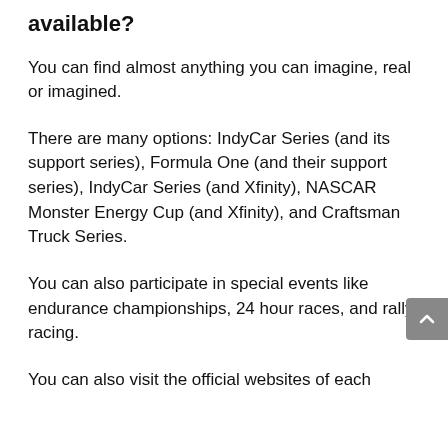What are the different types of cars available?
You can find almost anything you can imagine, real or imagined.
There are many options: IndyCar Series (and its support series), Formula One (and their support series), IndyCar Series (and Xfinity), NASCAR Monster Energy Cup (and Xfinity), and Craftsman Truck Series.
You can also participate in special events like endurance championships, 24 hour races, and rally racing.
You can also visit the official websites of each